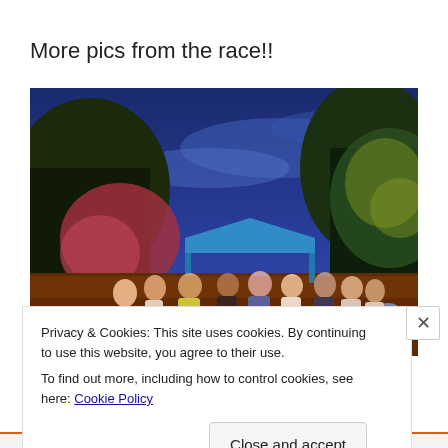More pics from the race!!
[Figure (photo): Nighttime outdoor photo of a group of runners/participants gathered in a park under blue twilight sky, with trees visible and an orange/warm ground lighting, a blue tent canopy in the background]
Privacy & Cookies: This site uses cookies. By continuing to use this website, you agree to their use.
To find out more, including how to control cookies, see here: Cookie Policy
Close and accept